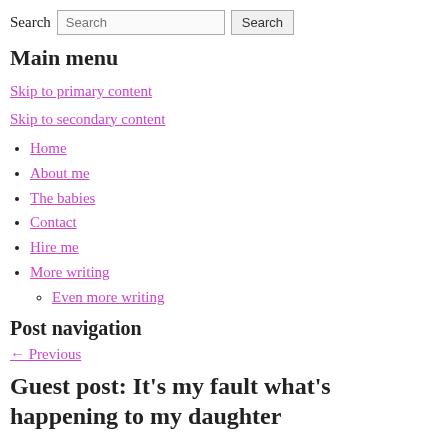Search [Search input] Search
Main menu
Skip to primary content
Skip to secondary content
Home
About me
The babies
Contact
Hire me
More writing
Even more writing
Post navigation
← Previous
Guest post: It's my fault what's happening to my daughter